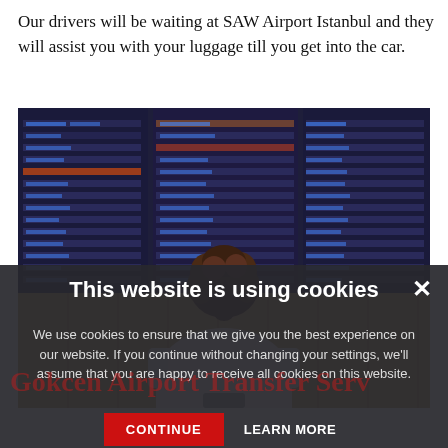Our drivers will be waiting at SAW Airport Istanbul and they will assist you with your luggage till you get into the car.
[Figure (photo): Woman viewed from behind looking at airport departure/arrival boards displaying flight information on large screens]
This website is using cookies
We use cookies to ensure that we give you the best experience on our website. If you continue without changing your settings, we'll assume that you are happy to receive all cookies on this website.
Gokcen Airport Transfer Serv...